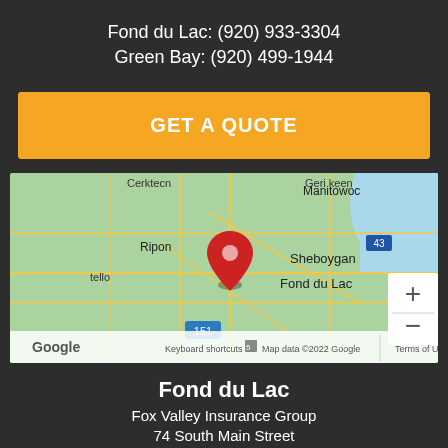Fond du Lac: (920) 933-3304
Green Bay: (920) 499-1944
GET A QUOTE
[Figure (map): Google Map showing Fond du Lac, Wisconsin area with a red pin marker, showing Ripon, Sheboygan, Manitowoc labels and Lake Winnebago. Map data ©2022 Google.]
Fond du Lac
Fox Valley Insurance Group
74 South Main Street
Suite 105